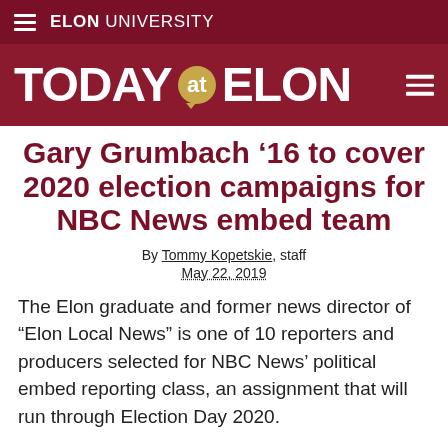ELON UNIVERSITY
TODAY at ELON
Gary Grumbach ’16 to cover 2020 election campaigns for NBC News embed team
By Tommy Kopetskie, staff
May 22, 2019
The Elon graduate and former news director of “Elon Local News” is one of 10 reporters and producers selected for NBC News’ political embed reporting class, an assignment that will run through Election Day 2020.